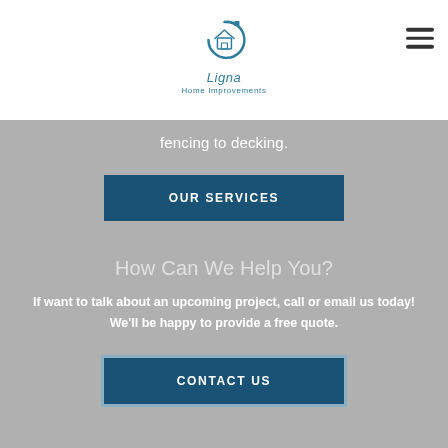Ligna Home Improvements logo and navigation
fencing to decking.
OUR SERVICES
How Can We Help You?
If want to talk about an upcoming project, call or email us today! We'll be happy to provide a free quote.
CONTACT US